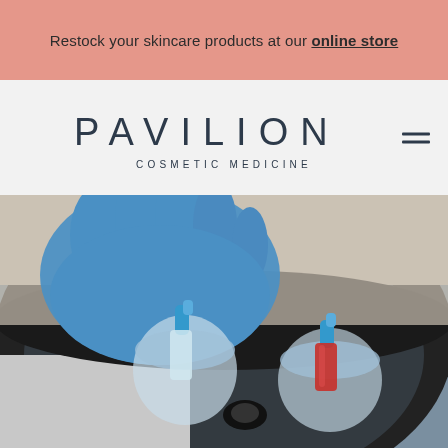Restock your skincare products at our online store
[Figure (logo): Pavilion Cosmetic Medicine logo with geometric stylized text and subtitle]
[Figure (photo): A gloved hand in blue latex placing laboratory vials/tubes into a centrifuge machine. Two transparent sample holders with blue-capped tubes are visible, one containing clear liquid and the other containing a red blood sample.]